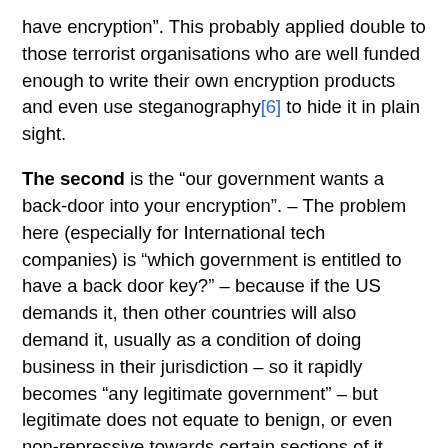have encryption". This probably applied double to those terrorist organisations who are well funded enough to write their own encryption products and even use steganography[6] to hide it in plain sight.
The second is the “our government wants a back-door into your encryption". – The problem here (especially for International tech companies) is “which government is entitled to have a back door key?” – because if the US demands it, then other countries will also demand it, usually as a condition of doing business in their jurisdiction – so it rapidly becomes “any legitimate government” – but legitimate does not equate to benign, or even non-repressive towards certain sections of it citizens.
The third is that international business needs to be able to ensure that its business communications are secure; I can remember the time in the 90s when France would not allow secure encryption of our corporate WAN links into the country – this can negatively affect business investment decisions if you can not ensure the security of your business (physical or digital) in that country.